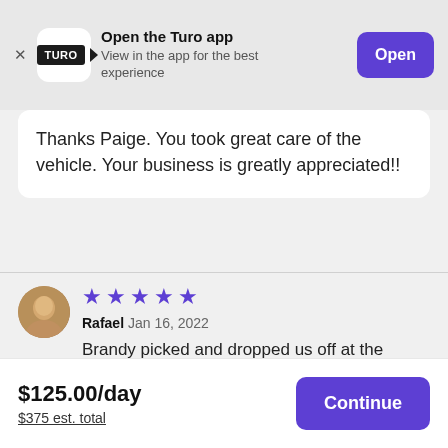[Figure (screenshot): Turo app banner with logo, title 'Open the Turo app', subtitle 'View in the app for the best experience', and an 'Open' button]
Thanks Paige. You took great care of the vehicle. Your business is greatly appreciated!!
[Figure (photo): Circular avatar photo of reviewer Rafael]
★★★★★ Rafael Jan 16, 2022
Brandy picked and dropped us off at the airport she was very nice and accommodating would definitely recommend
$125.00/day
$375 est. total